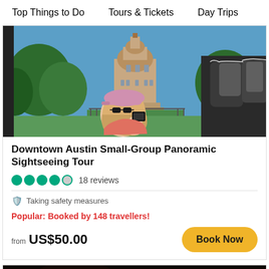Top Things to Do   Tours & Tickets   Day Trips
[Figure (photo): A woman wearing a pink cap photographing the Texas State Capitol from an open-top bus, with bus seats visible on the right side]
Downtown Austin Small-Group Panoramic Sightseeing Tour
18 reviews
Taking safety measures
Popular: Booked by 148 travellers!
from US$50.00
Book Now
[Figure (photo): Dark partial image at bottom of page, appears to be a dimly lit scene]